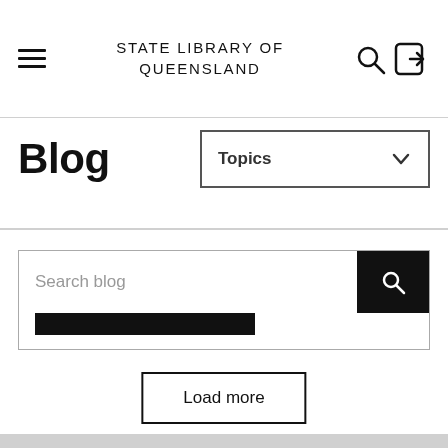STATE LIBRARY OF QUEENSLAND
Blog
Topics
Search blog
Load more